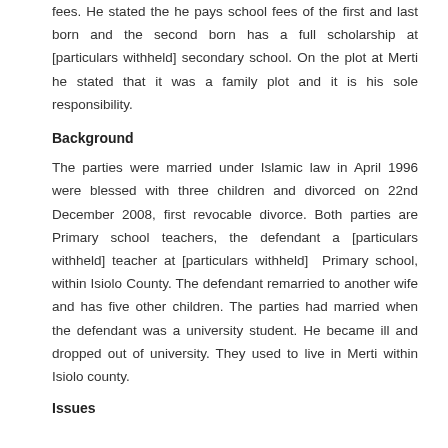fees. He stated the he pays school fees of the first and last born and the second born has a full scholarship at [particulars withheld] secondary school. On the plot at Merti he stated that it was a family plot and it is his sole responsibility.
Background
The parties were married under Islamic law in April 1996 were blessed with three children and divorced on 22nd December 2008, first revocable divorce. Both parties are Primary school teachers, the defendant a [particulars withheld] teacher at [particulars withheld] Primary school, within Isiolo County. The defendant remarried to another wife and has five other children. The parties had married when the defendant was a university student. He became ill and dropped out of university. They used to live in Merti within Isiolo county.
Issues